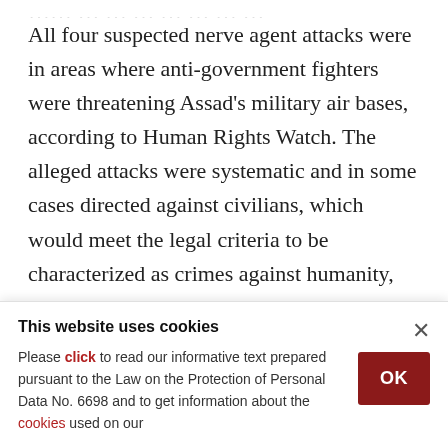All four suspected nerve agent attacks were in areas where anti-government fighters were threatening Assad's military air bases, according to Human Rights Watch. The alleged attacks were systematic and in some cases directed against civilians, which would meet the legal criteria to be characterized as crimes against humanity, the rights group said.
The Organization for the Prohibition of Chemical
This website uses cookies
Please click to read our informative text prepared pursuant to the Law on the Protection of Personal Data No. 6698 and to get information about the cookies used on our